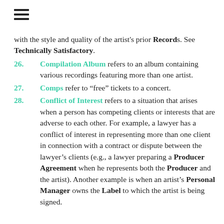with the style and quality of the artist's prior Records. See Technically Satisfactory.
26. Compilation Album refers to an album containing various recordings featuring more than one artist.
27. Comps refer to “free” tickets to a concert.
28. Conflict of Interest refers to a situation that arises when a person has competing clients or interests that are adverse to each other. For example, a lawyer has a conflict of interest in representing more than one client in connection with a contract or dispute between the lawyer’s clients (e.g., a lawyer preparing a Producer Agreement when he represents both the Producer and the artist). Another example is when an artist’s Personal Manager owns the Label to which the artist is being signed.